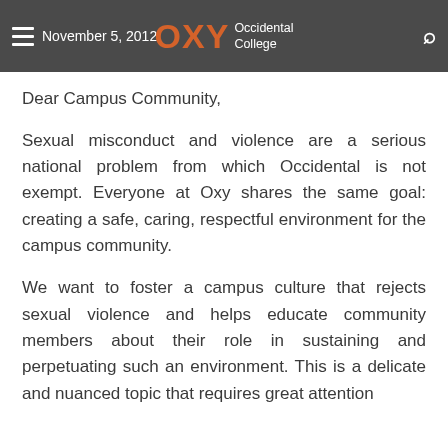November 5, 2012 — OXY Occidental College
Dear Campus Community,
Sexual misconduct and violence are a serious national problem from which Occidental is not exempt. Everyone at Oxy shares the same goal: creating a safe, caring, respectful environment for the campus community.
We want to foster a campus culture that rejects sexual violence and helps educate community members about their role in sustaining and perpetuating such an environment. This is a delicate and nuanced topic that requires great attention and care, and that demands attention to context.